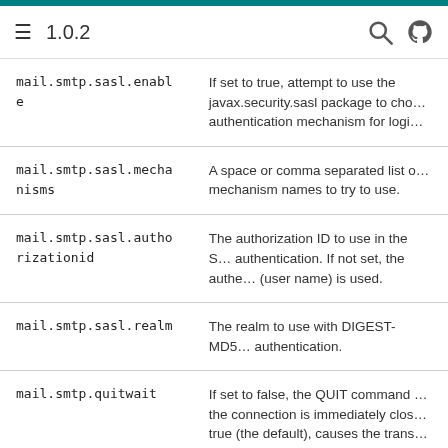1.0.2
| Property | Description |
| --- | --- |
| mail.smtp.sasl.enable | If set to true, attempt to use the javax.security.sasl package to choose an authentication mechanism for login. |
| mail.smtp.sasl.mechanisms | A space or comma separated list of mechanism names to try to use. |
| mail.smtp.sasl.authorizationid | The authorization ID to use in the SASL authentication. If not set, the authentication (user name) is used. |
| mail.smtp.sasl.realm | The realm to use with DIGEST-MD5 authentication. |
| mail.smtp.quitwait | If set to false, the QUIT command is sent and the connection is immediately closed. If set to true (the default), causes the transport to wait for the response to the QUIT command. |